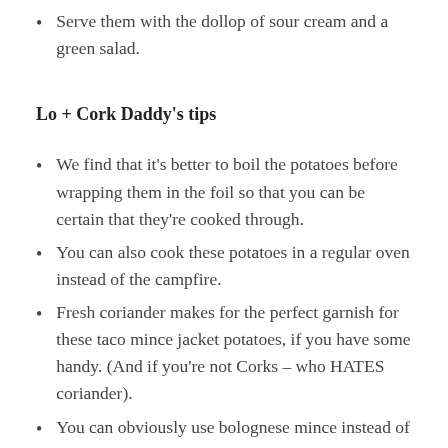Serve them with the dollop of sour cream and a green salad.
Lo + Cork Daddy's tips
We find that it's better to boil the potatoes before wrapping them in the foil so that you can be certain that they're cooked through.
You can also cook these potatoes in a regular oven instead of the campfire.
Fresh coriander makes for the perfect garnish for these taco mince jacket potatoes, if you have some handy. (And if you're not Corks – who HATES coriander).
You can obviously use bolognese mince instead of the taco mince too.
An even easier idea is to replace the mince with a